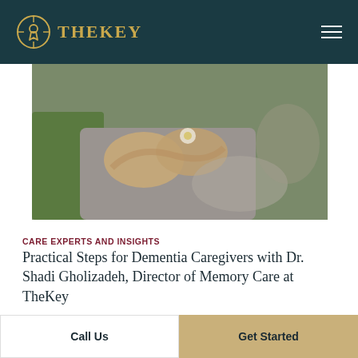TheKey
[Figure (photo): Close-up of elderly hands holding a small white daisy flower]
CARE EXPERTS AND INSIGHTS
Practical Steps for Dementia Caregivers with Dr. Shadi Gholizadeh, Director of Memory Care at TheKey
[Figure (photo): Close-up of an elderly person's face, partially visible]
Call Us
Get Started